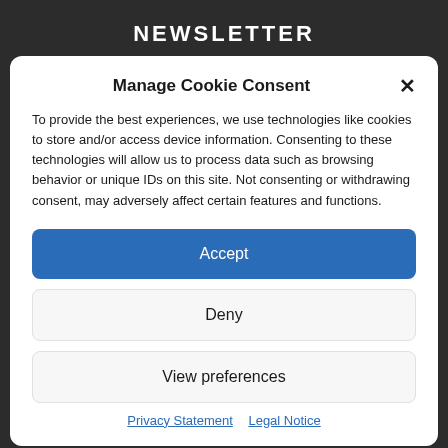NEWSLETTER
Manage Cookie Consent
To provide the best experiences, we use technologies like cookies to store and/or access device information. Consenting to these technologies will allow us to process data such as browsing behavior or unique IDs on this site. Not consenting or withdrawing consent, may adversely affect certain features and functions.
Accept
Deny
View preferences
Privacy Statement   Legal Notice